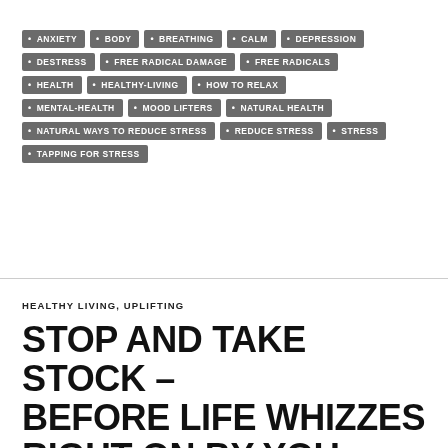ANXIETY, BODY, BREATHING, CALM, DEPRESSION, DESTRESS, FREE RADICAL DAMAGE, FREE RADICALS, HEALTH, HEALTHY-LIVING, HOW TO RELAX, MENTAL-HEALTH, MOOD LIFTERS, NATURAL HEALTH, NATURAL WAYS TO REDUCE STRESS, REDUCE STRESS, STRESS, TAPPING FOR STRESS
HEALTHY LIVING, UPLIFTING
STOP AND TAKE STOCK – BEFORE LIFE WHIZZES RIGHT ON BY YOU